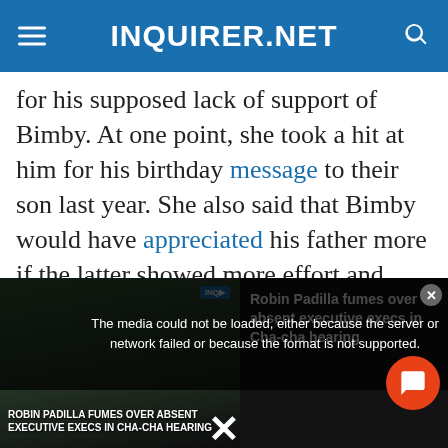INQUIRER.NET
for his supposed lack of support of Bimby. At one point, she took a hit at him for his birthday message to their son last year. She also said that Bimby would have appreciated his father more if the latter showed more effort and paid child support.
Aquino and Yap were married in 2005, and welcomed Bimby two years later. She announced
[Figure (screenshot): Video player overlay showing error message 'The media could not be loaded, either because the server or network failed or because the format is not supported.' with video thumbnail of Robin Padilla news story on the left and title 'Robin Padilla fumes over absent executive execs in Cha-cha hearing' on the right. A red chat button and close X are visible.]